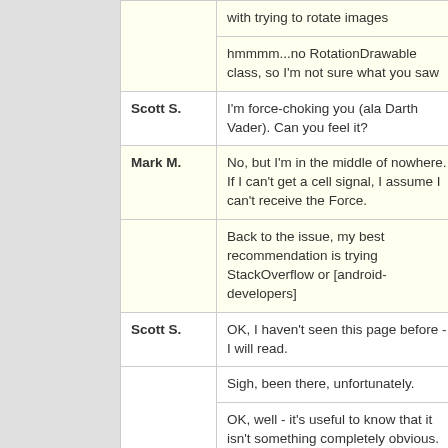| Speaker | Message |
| --- | --- |
|  | with trying to rotate images |
|  | hmmmm...no RotationDrawable class, so I'm not sure what you saw |
| Scott S. | I'm force-choking you (ala Darth Vader). Can you feel it? |
| Mark M. | No, but I'm in the middle of nowhere. If I can't get a cell signal, I assume I can't receive the Force. |
|  | Back to the issue, my best recommendation is trying StackOverflow or [android-developers] |
| Scott S. | OK, I haven't seen this page before - I will read. |
|  | Sigh, been there, unfortunately. |
|  | OK, well - it's useful to know that it isn't something completely obvious. |
|  | I'm probably going to go |